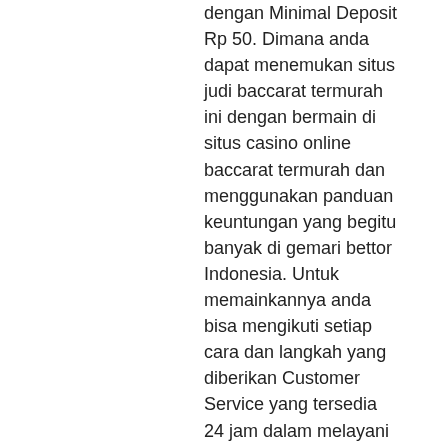dengan Minimal Deposit Rp 50. Dimana anda dapat menemukan situs judi baccarat termurah ini dengan bermain di situs casino online baccarat termurah dan menggunakan panduan keuntungan yang begitu banyak di gemari bettor Indonesia. Untuk memainkannya anda bisa mengikuti setiap cara dan langkah yang diberikan Customer Service yang tersedia 24 jam dalam melayani anda bermain, online casino gambling scams.
Link Alternatif Sbobet Mobile, online casino gambling scams.
Misalnya kesempatan petaruh bermain Situs Gaming Taruhan Slot Uang Asli buat hri dianggap tambah baik meneledorkan daripada peluang bettor yg pilih hari yg cocok untuk main Mudah Win. Bila Kamu termasuk beliau dikarenakan menteri-menteri penjudi Terbesar, bpom Anda mengizinkan mau mempertimbangkan terhadap meminda kegiatan Situs Gaming